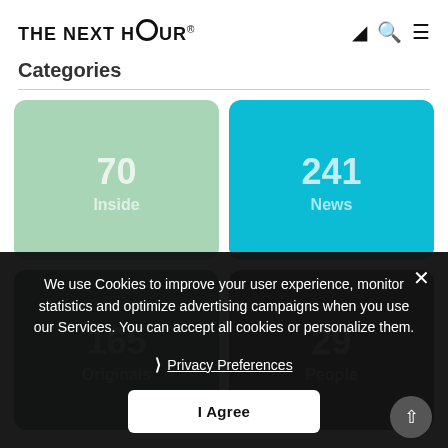THE NEXT HOUR®
Categories
[Figure (infographic): Four category cards: 70 Inside (green), 241 News (cyan), 165 Originals (dark navy), 29 People (dark maroon)]
We use Cookies to improve your user experience, monitor statistics and optimize advertising campaigns when you use our Services. You can accept all cookies or personalize them.
Privacy Preferences
I Agree